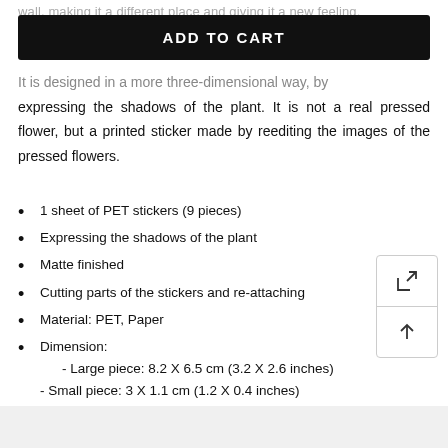wall, making it a different place and giving it a new feeling.
ADD TO CART
It is designed in a more three-dimensional way, by expressing the shadows of the plant. It is not a real pressed flower, but a printed sticker made by reediting the images of the pressed flowers.
1 sheet of PET stickers (9 pieces)
Expressing the shadows of the plant
Matte finished
Cutting parts of the stickers and re-attaching
Material: PET, Paper
Dimension:
- Large piece: 8.2 X 6.5 cm (3.2 X 2.6 inches)
- Small piece: 3 X 1.1 cm (1.2 X 0.4 inches)
- Sheet: 9.2 X 15 cm (3.6 X 5.9 inches)